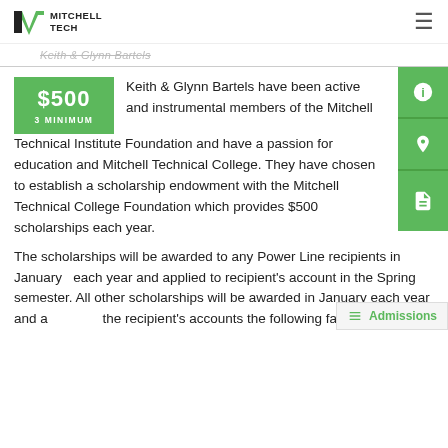Mitchell Tech
Keith & Glynn Bartels
$500 3 MINIMUM
Keith & Glynn Bartels have been active and instrumental members of the Mitchell Technical Institute Foundation and have a passion for education and Mitchell Technical College. They have chosen to establish a scholarship endowment with the Mitchell Technical College Foundation which provides $500 scholarships each year.
The scholarships will be awarded to any Power Line recipients in January  each year and applied to recipient's account in the Spring semester. All other scholarships will be awarded in January each year and a the recipient's accounts the following fall